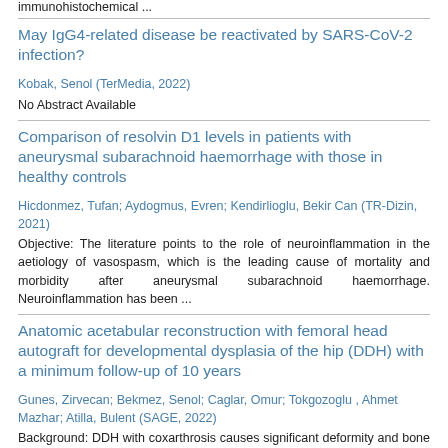immunohistochemical ...
May IgG4-related disease be reactivated by SARS-CoV-2 infection?
Kobak, Senol (TerMedia, 2022)
No Abstract Available
Comparison of resolvin D1 levels in patients with aneurysmal subarachnoid haemorrhage with those in healthy controls
Hicdonmez, Tufan; Aydogmus, Evren; Kendirlioglu, Bekir Can (TR-Dizin, 2021)
Objective: The literature points to the role of neuroinflammation in the aetiology of vasospasm, which is the leading cause of mortality and morbidity after aneurysmal subarachnoid haemorrhage. Neuroinflammation has been ...
Anatomic acetabular reconstruction with femoral head autograft for developmental dysplasia of the hip (DDH) with a minimum follow-up of 10 years
Gunes, Zirvecan; Bekmez, Senol; Caglar, Omur; Tokgozoglu , Ahmet Mazhar; Atilla, Bulent (SAGE, 2022)
Background: DDH with coxarthrosis causes significant deformity and bone deficiency. Various reconstructive techniques have been proposed